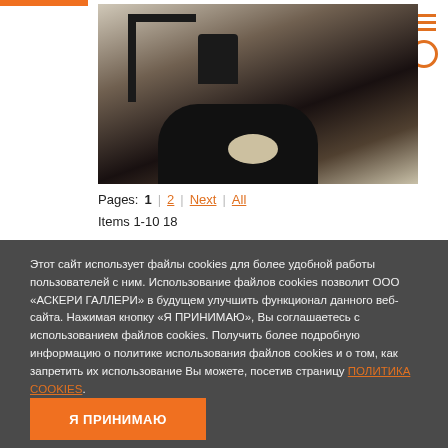[Figure (photo): Black and white photograph showing a figure, partial view, with dark shadowy forms and a light background suggesting an interior scene]
Pages: 1 2 Next All
Items 1-10 18
Этот сайт использует файлы cookies для более удобной работы пользователей с ним. Использование файлов cookies позволит ООО «АСКЕРИ ГАЛЛЕРИ» в будущем улучшить функционал данного веб-сайта. Нажимая кнопку «Я ПРИНИМАЮ», Вы соглашаетесь с использованием файлов cookies. Получить более подробную информацию о политике использования файлов cookies и о том, как запретить их использование Вы можете, посетив страницу ПОЛИТИКА COOKIES.
Я ПРИНИМАЮ